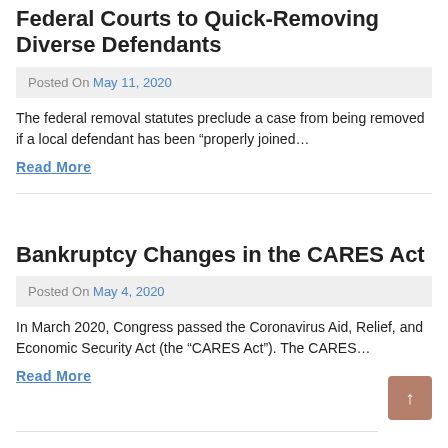Federal Courts to Quick-Removing Diverse Defendants
Posted On May 11, 2020
The federal removal statutes preclude a case from being removed if a local defendant has been "properly joined...
Read More
Bankruptcy Changes in the CARES Act
Posted On May 4, 2020
In March 2020, Congress passed the Coronavirus Aid, Relief, and Economic Security Act (the “CARES Act”).  The CARES...
Read More